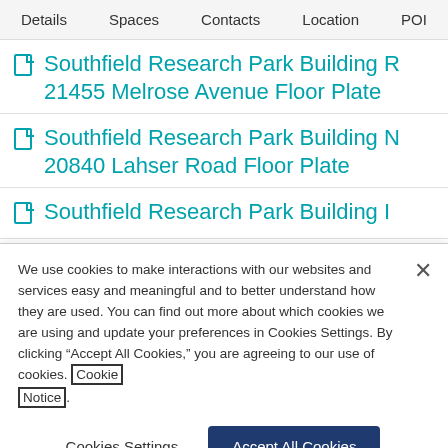Details | Spaces | Contacts | Location | POI
Southfield Research Park Building R 21455 Melrose Avenue Floor Plate
Southfield Research Park Building N 20840 Lahser Road Floor Plate
Southfield Research Park Building I
We use cookies to make interactions with our websites and services easy and meaningful and to better understand how they are used. You can find out more about which cookies we are using and update your preferences in Cookies Settings. By clicking “Accept All Cookies,” you are agreeing to our use of cookies. Cookie Notice.
Cookies Settings | Accept All Cookies